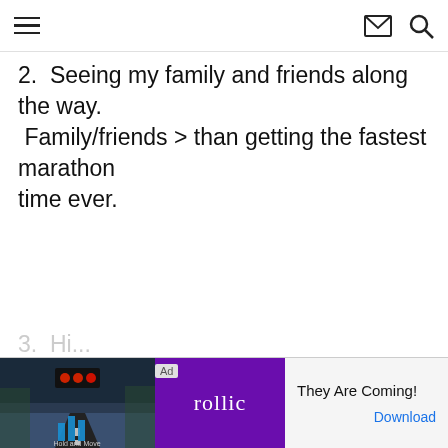navigation header with hamburger menu, mail icon, and search icon
2.  Seeing my family and friends along the way. Family/friends > than getting the fastest marathon time ever.
[Figure (screenshot): Advertisement banner at the bottom: Ad label, game image with snowy road scene and Rollic purple logo, text 'They Are Coming!' with a Download link in blue.]